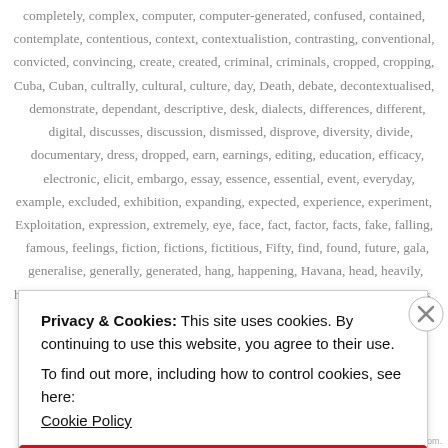completely, complex, computer, computer-generated, confused, contained, contemplate, contentious, context, contextualistion, contrasting, conventional, convicted, convincing, create, created, criminal, criminals, cropped, cropping, Cuba, Cuban, cultrally, cultural, culture, day, Death, debate, decontextualised, demonstrate, dependant, descriptive, desk, dialects, differences, different, digital, discusses, discussion, dismissed, disprove, diversity, divide, documentary, dress, dropped, earn, earnings, editing, education, efficacy, electronic, elicit, embargo, essay, essence, essential, event, everyday, example, excluded, exhibition, expanding, expected, experience, experiment, Exploitation, expression, extremely, eye, face, fact, factor, facts, fake, falling, famous, feelings, fiction, fictions, fictitious, Fifty, find, found, future, gala, generalise, generally, generated, hang, happening, Havana, head, heavily, heavy, holding, idea, identities, illiterate, illustration, image, imagery, images,
Privacy & Cookies: This site uses cookies. By continuing to use this website, you agree to their use.
To find out more, including how to control cookies, see here:
Cookie Policy
Close and accept